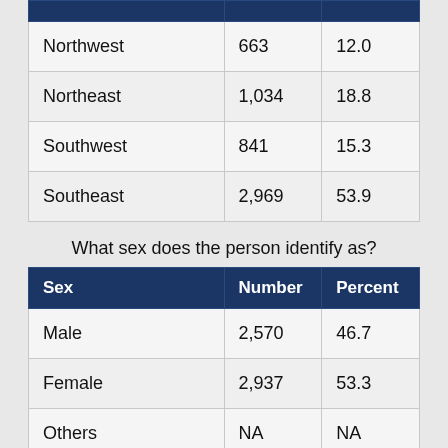|  |  |  |
| --- | --- | --- |
| Northwest | 663 | 12.0 |
| Northeast | 1,034 | 18.8 |
| Southwest | 841 | 15.3 |
| Southeast | 2,969 | 53.9 |
What sex does the person identify as?
| Sex | Number | Percent |
| --- | --- | --- |
| Male | 2,570 | 46.7 |
| Female | 2,937 | 53.3 |
| Others | NA | NA |